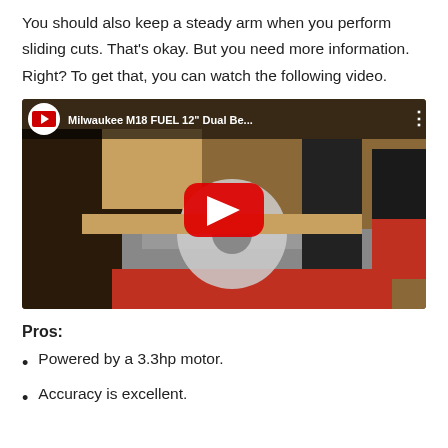You should also keep a steady arm when you perform sliding cuts. That's okay. But you need more information. Right? To get that, you can watch the following video.
[Figure (screenshot): YouTube video thumbnail showing Milwaukee M18 FUEL 12" Dual Be... with a person operating a miter saw, and a red YouTube play button overlay.]
Pros:
Powered by a 3.3hp motor.
Accuracy is excellent.